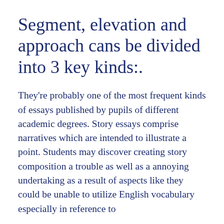Segment, elevation and approach cans be divided into 3 key kinds:.
They're probably one of the most frequent kinds of essays published by pupils of different academic degrees. Story essays comprise narratives which are intended to illustrate a point. Students may discover creating story composition a trouble as well as a annoying undertaking as a result of aspects like they could be unable to utilize English vocabulary especially in reference to